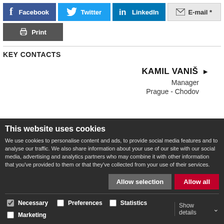Facebook
Twitter
LinkedIn
E-mail *
Print
KEY CONTACTS
KAMIL VANIŠ ▶
Manager
Prague - Chodov
This website uses cookies
We use cookies to personalise content and ads, to provide social media features and to analyse our traffic. We also share information about your use of our site with our social media, advertising and analytics partners who may combine it with other information that you've provided to them or that they've collected from your use of their services.
Allow selection
Allow all
Necessary  Preferences  Statistics  Marketing  Show details